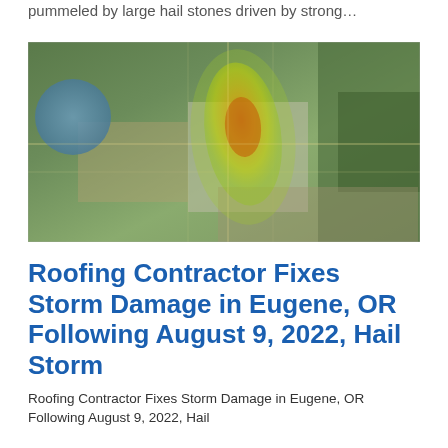pummeled by large hail stones driven by strong…
[Figure (map): Aerial map showing hail storm impact area over Eugene, OR region. A yellow-green and orange-red heat map overlay indicates hail intensity zone in a roughly oval/elongated shape over the city center area.]
Roofing Contractor Fixes Storm Damage in Eugene, OR Following August 9, 2022, Hail Storm
Roofing Contractor Fixes Storm Damage in Eugene, OR Following August 9, 2022, Hail